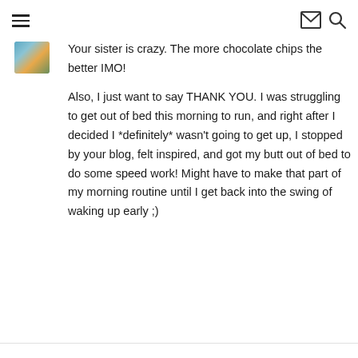☰   ✉ 🔍
[Figure (photo): Small circular/square avatar thumbnail showing a person, with teal and orange tones]
Your sister is crazy. The more chocolate chips the better IMO!
Also, I just want to say THANK YOU. I was struggling to get out of bed this morning to run, and right after I decided I *definitely* wasn't going to get up, I stopped by your blog, felt inspired, and got my butt out of bed to do some speed work! Might have to make that part of my morning routine until I get back into the swing of waking up early ;)